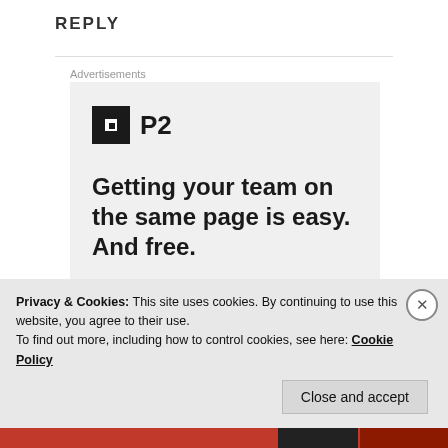REPLY
[Figure (illustration): Advertisement block for P2 product. Shows P2 logo (dark square with white icon) and bold headline: 'Getting your team on the same page is easy. And free.' with circular avatar photos at the bottom.]
Privacy & Cookies: This site uses cookies. By continuing to use this website, you agree to their use. To find out more, including how to control cookies, see here: Cookie Policy
Close and accept